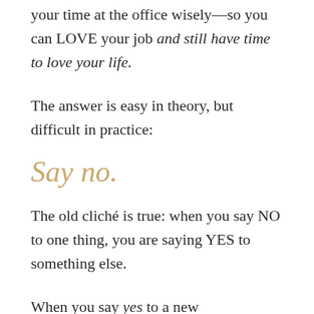your time at the office wisely—so you can LOVE your job and still have time to love your life.
The answer is easy in theory, but difficult in practice:
Say no.
The old cliché is true: when you say NO to one thing, you are saying YES to something else.
When you say yes to a new collaboration or